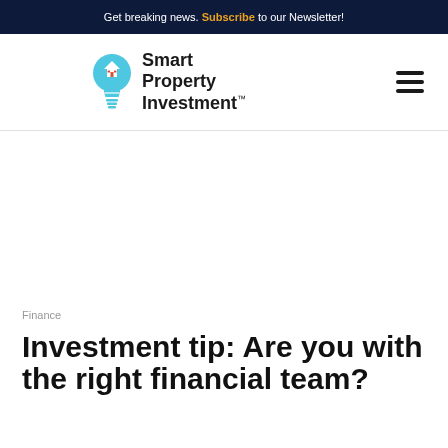Get breaking news. Subscribe to our Newsletter!
[Figure (logo): Smart Property Investment logo with light bulb icon containing a house]
Finance
Investment tip: Are you with the right financial team?